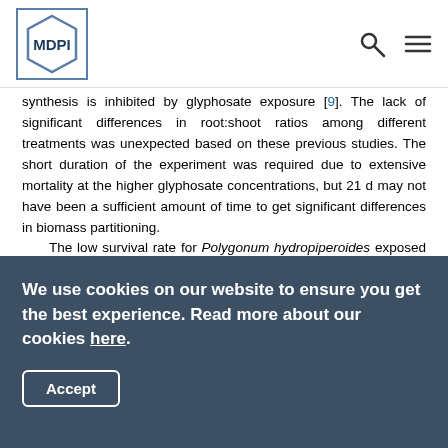MDPI
synthesis is inhibited by glyphosate exposure [9]. The lack of significant differences in root:shoot ratios among different treatments was unexpected based on these previous studies. The short duration of the experiment was required due to extensive mortality at the higher glyphosate concentrations, but 21 d may not have been a sufficient amount of time to get significant differences in biomass partitioning.

The low survival rate for Polygonum hydropiperoides exposed to the highest two glyphosate exposure concentrations was predictable given that these two dosages are of the same magnitude of solutions prepared following packaging instructions (1,000 and 10,000 mg/L). Panicum hemitomon was
We use cookies on our website to ensure you get the best experience. Read more about our cookies here.
Accept